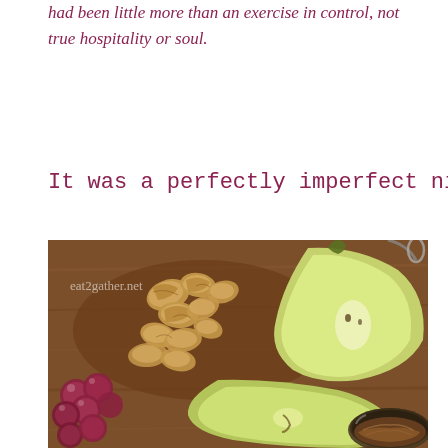had been little more than an exercise in control, not true hospitality or soul.
It was a perfectly imperfect ni
[Figure (photo): Overhead photo of a wooden cutting board with walnut pieces, halved and sliced green pear, red grapes on the left, and a small bowl of what appears to be caramelized onions on the lower right. Watermark reads eat2gather.net.]